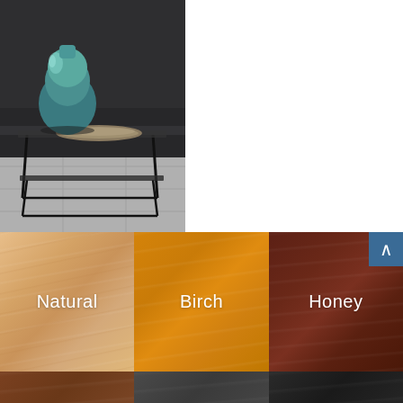[Figure (photo): Interior lifestyle photo showing a dark metal frame coffee table with a teal/green glass vase and a metallic bowl, set against a dark grey sofa and light grey wood-look floor tiles.]
[Figure (photo): Wood finish swatches panel showing three options side by side: Natural (light tan/blonde wood grain), Birch (golden amber wood grain), and Honey (deep dark reddish-brown wood grain). A blue scroll-to-top button with a caret/chevron up symbol appears in the top right corner of the Honey swatch.]
[Figure (photo): Partial view of additional wood finish swatches in the bottom strip, showing darker wood tones. Labels are partially cut off at the bottom edge.]